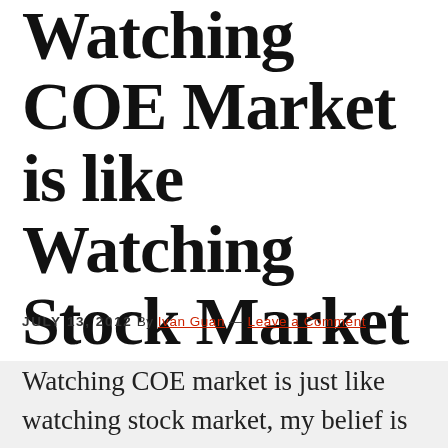Watching COE Market is like Watching Stock Market
JULY 13, 2012 By Ivan Guan — Leave a Comment
Watching COE market is just like watching stock market, my belief is reaffirmed again that